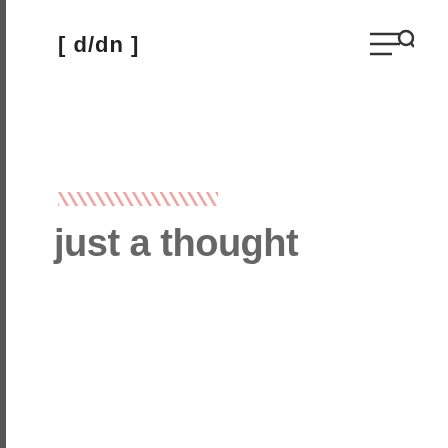[ d/dn ]
[Figure (other): Menu/search icon (three lines with magnifying glass) in top right corner]
[Figure (other): Red diagonal hatching bar/stripe pattern]
just a thought